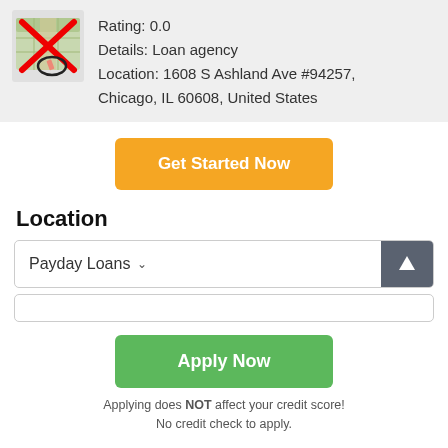[Figure (illustration): Map icon with a red X over it and a hand cursor, shown in a light gray card area]
Rating: 0.0
Details: Loan agency
Location: 1608 S Ashland Ave #94257, Chicago, IL 60608, United States
Get Started Now
Location
Payday Loans
Apply Now
Applying does NOT affect your credit score!
No credit check to apply.